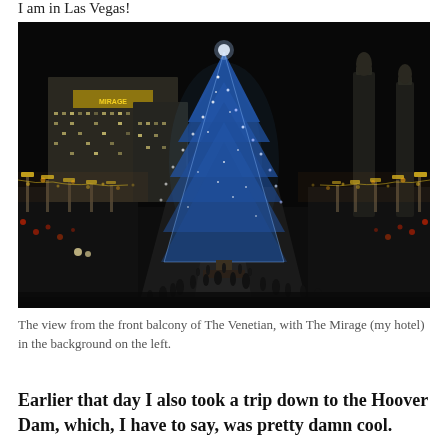I am in Las Vegas!
[Figure (photo): Night photo from the front balcony of The Venetian showing a large illuminated Christmas tree in the center of the Las Vegas Strip, with The Mirage hotel visible in the background on the left, surrounded by city lights and people walking.]
The view from the front balcony of The Venetian, with The Mirage (my hotel) in the background on the left.
Earlier that day I also took a trip down to the Hoover Dam, which, I have to say, was pretty damn cool.